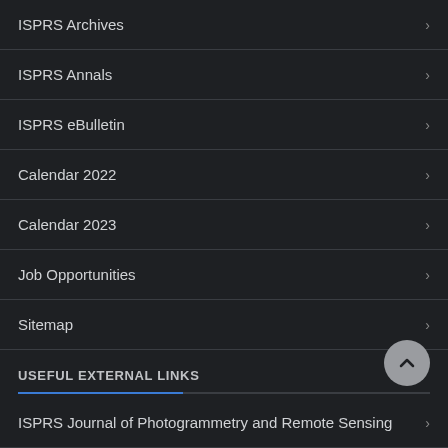ISPRS Archives
ISPRS Annals
ISPRS eBulletin
Calendar 2022
Calendar 2023
Job Opportunities
Sitemap
USEFUL EXTERNAL LINKS
ISPRS Journal of Photogrammetry and Remote Sensing
ISPRS Open Journal of Photogrammetry and Remote Sensing